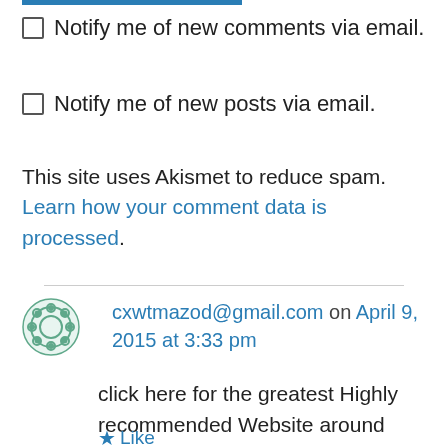Notify me of new comments via email.
Notify me of new posts via email.
This site uses Akismet to reduce spam. Learn how your comment data is processed.
cxwtmazod@gmail.com on April 9, 2015 at 3:33 pm
click here for the greatest Highly recommended Website around
Like